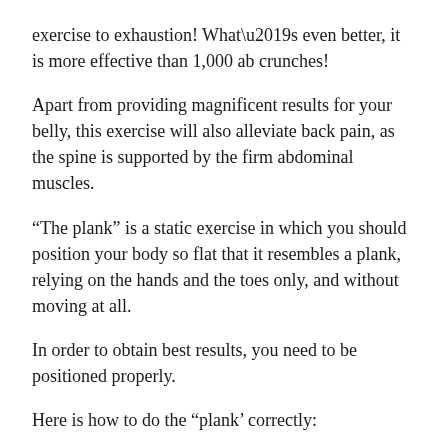exercise to exhaustion! What’s even better, it is more effective than 1,000 ab crunches!
Apart from providing magnificent results for your belly, this exercise will also alleviate back pain, as the spine is supported by the firm abdominal muscles.
“The plank” is a static exercise in which you should position your body so flat that it resembles a plank, relying on the hands and the toes only, and without moving at all.
In order to obtain best results, you need to be positioned properly.
Here is how to do the “plank’ correctly:
Place your hands on the floor, directly under your shoulders.